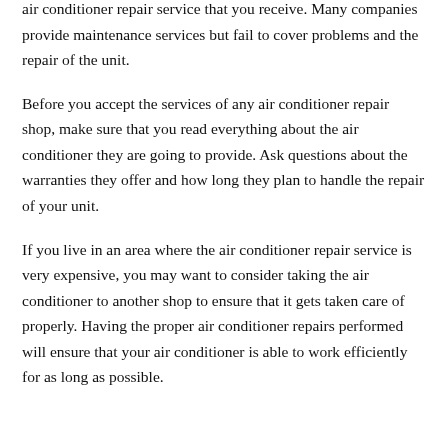air conditioner repair service that you receive. Many companies provide maintenance services but fail to cover problems and the repair of the unit.
Before you accept the services of any air conditioner repair shop, make sure that you read everything about the air conditioner they are going to provide. Ask questions about the warranties they offer and how long they plan to handle the repair of your unit.
If you live in an area where the air conditioner repair service is very expensive, you may want to consider taking the air conditioner to another shop to ensure that it gets taken care of properly. Having the proper air conditioner repairs performed will ensure that your air conditioner is able to work efficiently for as long as possible.